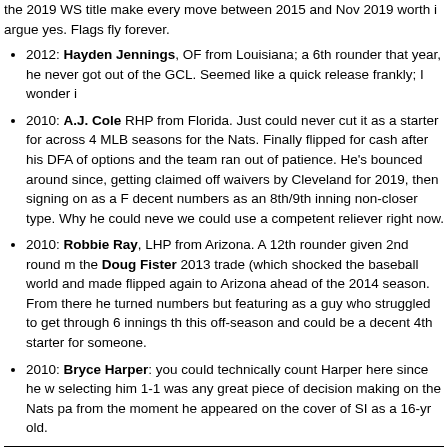the 2019 WS title make every move between 2015 and Nov 2019 worth it, argue yes. Flags fly forever.
2012: Hayden Jennings, OF from Louisiana; a 6th rounder that year, he never got out of the GCL. Seemed like a quick release frankly; I wonder i
2010: A.J. Cole RHP from Florida. Just could never cut it as a starter for across 4 MLB seasons for the Nats. Finally flipped for cash after his DFA of options and the team ran out of patience. He's bounced around since, getting claimed off waivers by Cleveland for 2019, then signing on as a F decent numbers as an 8th/9th inning non-closer type. Why he could neve we could use a competent reliever right now.
2010: Robbie Ray, LHP from Arizona. A 12th rounder given 2nd round m the Doug Fister 2013 trade (which shocked the baseball world and made flipped again to Arizona ahead of the 2014 season. From there he turned numbers but featuring as a guy who struggled to get through 6 innings th this off-season and could be a decent 4th starter for someone.
2010: Bryce Harper: you could technically count Harper here since he w selecting him 1-1 was any great piece of decision making on the Nats pa from the moment he appeared on the cover of SI as a 16-yr old.
So, in the Rizzo Era, I’d say that the most successful HS drafted player for us (even though Ray has more career bWAR), with Luzardo projecting right now p supplanting him in the future.
The most successful HS drafted player for the Nats? Only three have even pla